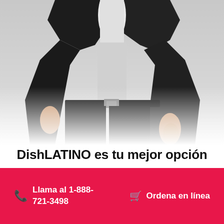[Figure (photo): Man in a dark business suit with white shirt, photographed from the torso down against a light grey background. The figure fades at the bottom via a gradient.]
DishLATINO es tu mejor opción
¡Cada día más clientes de DIRECTV en Nesbit están cambiándose a la televisión del futuro con
Llama al 1-888-721-3498
Ordena en línea